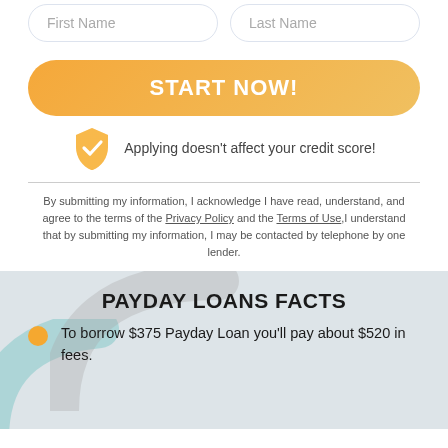[Figure (other): Form input field placeholders: First Name and Last Name in rounded input boxes]
[Figure (other): Orange rounded button labeled START NOW!]
Applying doesn't affect your credit score!
By submitting my information, I acknowledge I have read, understand, and agree to the terms of the Privacy Policy and the Terms of Use,I understand that by submitting my information, I may be contacted by telephone by one lender.
PAYDAY LOANS FACTS
To borrow $375 Payday Loan you'll pay about $520 in fees.